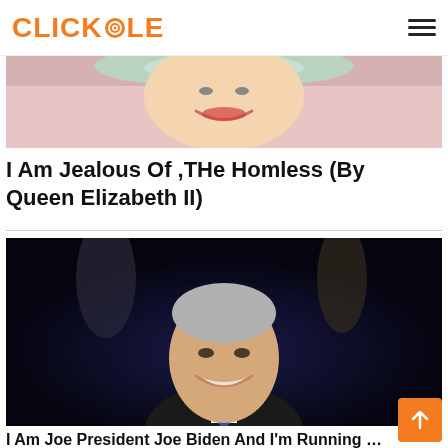CLICKHOLE
[Figure (photo): Partial photo of Queen Elizabeth II smiling, wearing pink and a floral headpiece]
I Am Jealous Of ,THe Homless (By Queen Elizabeth II)
[Figure (photo): Photo of Joe Biden smiling against a dark background, wearing a suit and blue tie]
I Am Joe President Joe Biden And I'm Running For Presi...